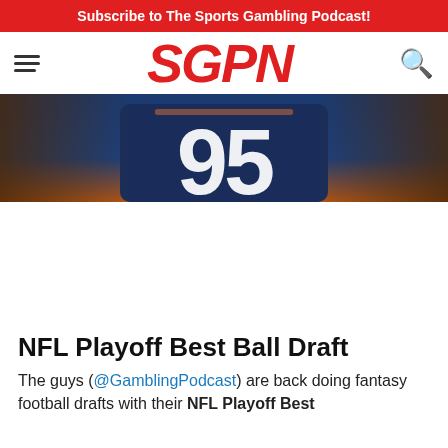Subscribe to The Sports Gambling Podcast!
[Figure (logo): SGPN logo in red italic bold text with hamburger menu icon on left and search icon on right]
[Figure (photo): NFL player wearing jersey number 95 in a dark blue uniform, cropped to show torso and arms with tattoos, blurred orange/blue background]
NFL Playoff Best Ball Draft
The guys (@GamblingPodcast) are back doing fantasy football drafts with their NFL Playoff Best